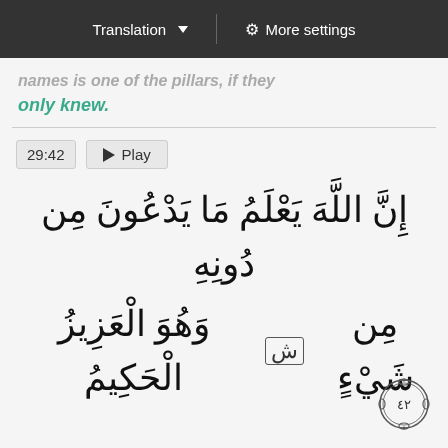Translation ▼  |  ⚙ More settings
...names is one of the pillars, if they only knew.
29:42  ▶ Play
إِنَّ اللَّهَ يَعْلَمُ مَا يَدْعُونَ مِن دُونِهِ
مِن شَيْءٍ ش وَهُوَ الْعَزِيزُ الْحَكِيمُ
[Figure (illustration): Verse number 42 shown in an ornate circular medallion with decorative border]